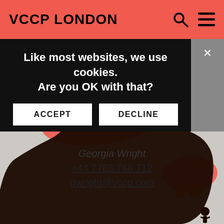VCCP LONDON
Like most websites, we use cookies. Are you OK with that?
ACCEPT
DECLINE
Georgia Wright
+44 7783 768 712
gwright@vccp.com
[Figure (illustration): Black silhouette of a bear with red paint splatter behind it on a light grey background, with a small human figure silhouette at the lower right]